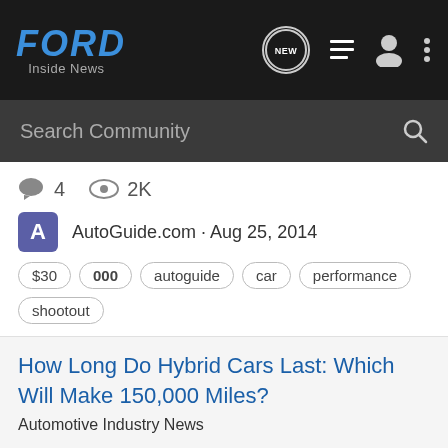FORD Inside News
Search Community
4  2K
AutoGuide.com · Aug 25, 2014
$30
000
autoguide
car
performance
shootout
How Long Do Hybrid Cars Last: Which Will Make 150,000 Miles?
Automotive Industry News
How Long Do Hybrid Cars Last: Which Will Make 150,000 Miles? https://autos.yahoo.com/news/long-hybrid-cars-last-150-000-miles-123856756.html Which hybrid cars accumulate the most mileage over time? According to a new data analysis, there's one hybrid that stands head and shoulders above the